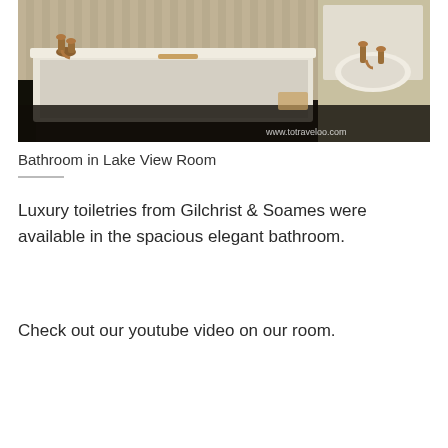[Figure (photo): Photo of a bathroom interior in Lake View Room showing a white bathtub with brass/copper faucets on the left, a white pedestal sink with matching brass faucets on the right, striped wallpaper in the background, and a watermark 'www.totraveloo.com' in the bottom right corner.]
Bathroom in Lake View Room
Luxury toiletries from Gilchrist & Soames were available in the spacious elegant bathroom.
Check out our youtube video on our room.